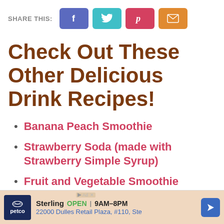SHARE THIS: [Facebook] [Twitter] [Pinterest] [Email]
Check Out These Other Delicious Drink Recipes!
Banana Peach Smoothie
Strawberry Soda (made with Strawberry Simple Syrup)
Fruit and Vegetable Smoothie
[Figure (infographic): Petco advertisement banner showing store name Sterling, hours OPEN 9AM-8PM, address 22000 Dulles Retail Plaza, #110, Ste, with navigation arrow icon]